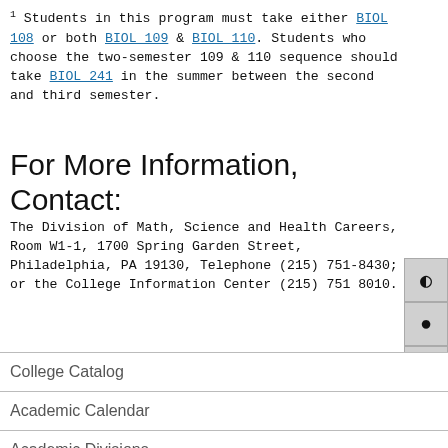1 Students in this program must take either BIOL 108 or both BIOL 109 & BIOL 110. Students who choose the two-semester 109 & 110 sequence should take BIOL 241 in the summer between the second and third semester.
For More Information, Contact:
The Division of Math, Science and Health Careers, Room W1-1, 1700 Spring Garden Street, Philadelphia, PA 19130, Telephone (215) 751-8430; or the College Information Center (215) 751 8010.
College Catalog
Academic Calendar
Academic Divisions
Admissions Information